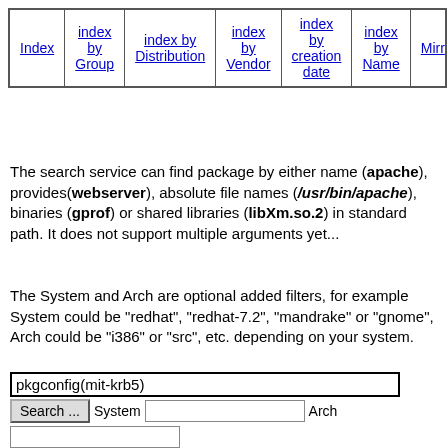| Index | index by Group | index by Distribution | index by Vendor | index by creation date | index by Name | Mirr... |
| --- | --- | --- | --- | --- | --- | --- |
|  |
The search service can find package by either name (apache), provides(webserver), absolute file names (/usr/bin/apache), binaries (gprof) or shared libraries (libXm.so.2) in standard path. It does not support multiple arguments yet...
The System and Arch are optional added filters, for example System could be "redhat", "redhat-7.2", "mandrake" or "gnome", Arch could be "i386" or "src", etc. depending on your system.
pkgconfig(mit-krb5) [search input] Search ... System [input] Arch [input]
RPM resource pkgconfig(mit-krb5)